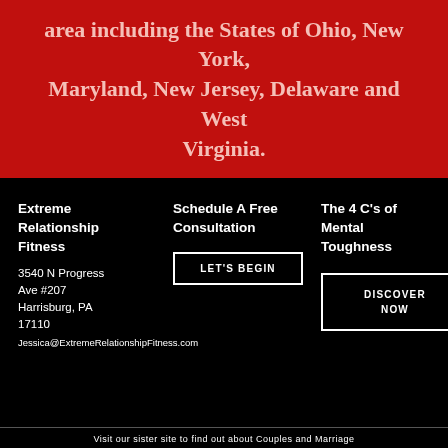area including the States of Ohio, New York, Maryland, New Jersey, Delaware and West Virginia.
Extreme Relationship Fitness
3540 N Progress Ave #207
Harrisburg, PA 17110
Jessica@ExtremeRelationshipFitness.com
Schedule A Free Consultation
LET'S BEGIN
The 4 C's of Mental Toughness
DISCOVER NOW
Visit our sister site to find out about Couples and Marriage